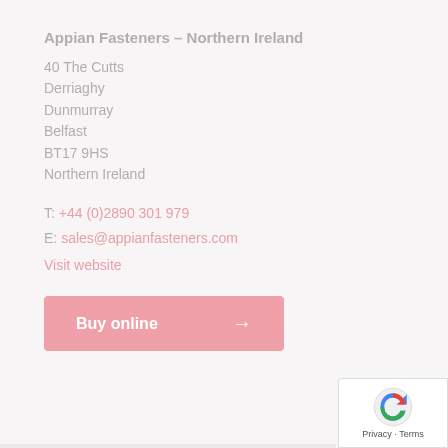Appian Fasteners – Northern Ireland
40 The Cutts
Derriaghy
Dunmurray
Belfast
BT17 9HS
Northern Ireland
T: +44 (0)2890 301 979
E: sales@appianfasteners.com
Visit website
Buy online →